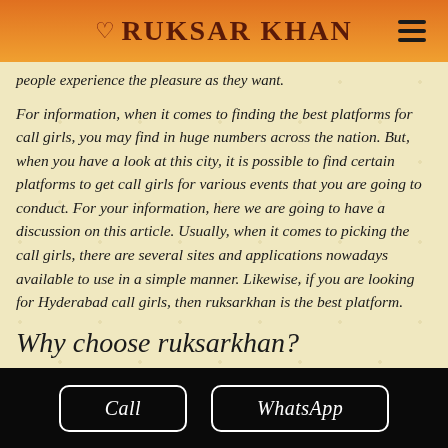RUKSAR KHAN
people experience the pleasure as they want.
For information, when it comes to finding the best platforms for call girls, you may find in huge numbers across the nation. But, when you have a look at this city, it is possible to find certain platforms to get call girls for various events that you are going to conduct. For your information, here we are going to have a discussion on this article. Usually, when it comes to picking the call girls, there are several sites and applications nowadays available to use in a simple manner. Likewise, if you are looking for Hyderabad call girls, then ruksarkhan is the best platform.
Why choose ruksarkhan?
Call | WhatsApp